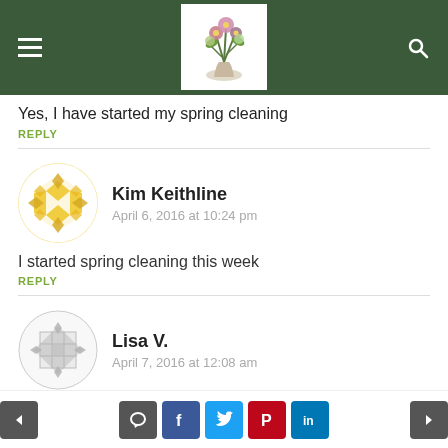Site header with navigation
Yes, I have started my spring cleaning
REPLY
Kim Keithline
April 6, 2016 at 10:24 pm
I started spring cleaning this week
REPLY
Lisa V.
April 7, 2016 at 12:08 am
Navigation bar with prev/next and social share buttons